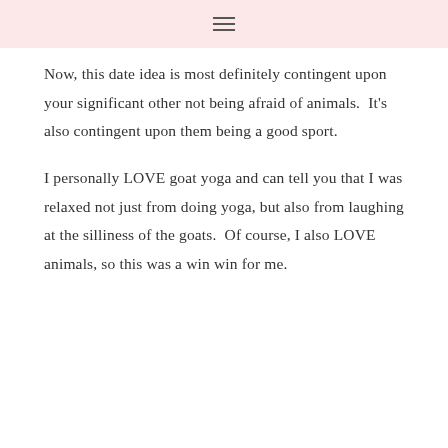≡
Now, this date idea is most definitely contingent upon your significant other not being afraid of animals.  It's also contingent upon them being a good sport.
I personally LOVE goat yoga and can tell you that I was relaxed not just from doing yoga, but also from laughing at the silliness of the goats.  Of course, I also LOVE animals, so this was a win win for me.